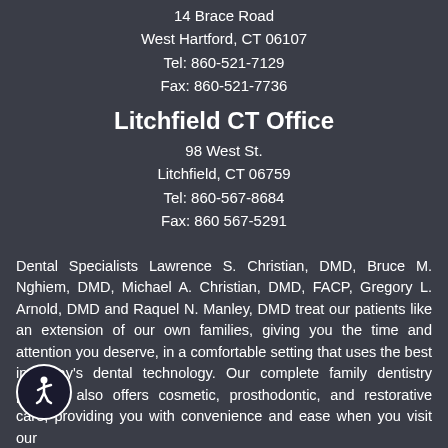14 Brace Road
West Hartford, CT 06107
Tel: 860-521-7129
Fax: 860-521-7736
Litchfield CT Office
98 West St.
Litchfield, CT 06759
Tel: 860-567-8684
Fax: 860 567-5291
Dental Specialists Lawrence S. Christian, DMD, Bruce M. Nghiem, DMD, Michael A. Christian, DMD, FACP, Gregory L. Arnold, DMD and Raquel N. Manley, DMD treat our patients like an extension of our own families, giving you the time and attention you deserve, in a comfortable setting that uses the best in today's dental technology. Our complete family dentistry practice also offers cosmetic, prosthodontic, and restorative care, providing you with convenience and ease when you visit our
[Figure (illustration): Wheelchair accessibility icon — white wheelchair symbol on dark circular background with white border]